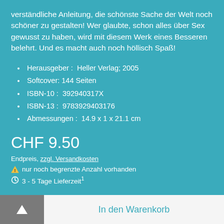verständliche Anleitung, die schönste Sache der Welt noch schöner zu gestalten! Wer glaubte, schon alles über Sex gewusst zu haben, wird mit diesem Werk eines Besseren belehrt. Und es macht auch noch höllisch Spaß!
Herausgeber :  Heller Verlag; 2005
Softcover: 144 Seiten
ISBN-10 :  392940317X
ISBN-13 :  9783929403176
Abmessungen :  14.9 x 1 x 21.1 cm
CHF 9.50
Endpreis, zzgl. Versandkosten
⚠ nur noch begrenzte Anzahl vorhanden
🕐 3 - 5 Tage Lieferzeit¹
In den Warenkorb